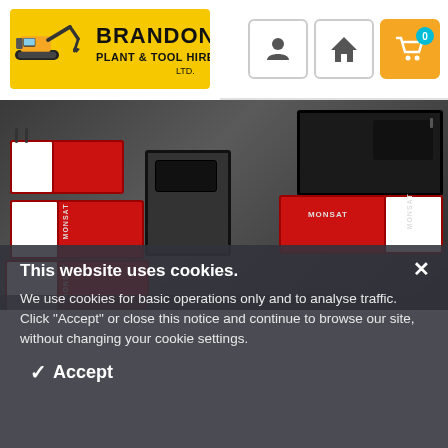[Figure (logo): Brandon Plant & Tool Hire Ltd logo with yellow excavator icon and black/yellow text]
[Figure (photo): Stacked Monsat batteries in red/black/white on a grey surface, product photo]
This website uses cookies.
We use cookies for basic operations only and to analyse traffic. Click "Accept" or close this notice and continue to browse our site, without changing your cookie settings.
✓ Accept